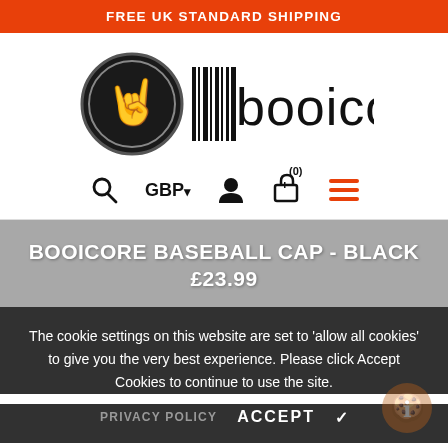FREE UK STANDARD SHIPPING
[Figure (logo): Booicore logo with a hand making a rock sign inside a circular emblem, next to barcode-style stripes and the text 'booicore']
[Figure (infographic): Navigation bar icons: search magnifier, GBP currency selector with dropdown arrow, user/account icon, shopping cart with (0) badge, hamburger menu in orange]
BOOICORE BASEBALL CAP - BLACK
£23.99
The cookie settings on this website are set to 'allow all cookies' to give you the very best experience. Please click Accept Cookies to continue to use the site.
PRIVACY POLICY   ACCEPT ✓